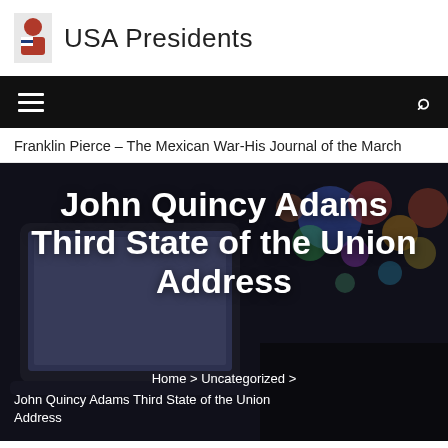USA Presidents
[Figure (screenshot): Website header with hamburger menu icon and search icon on black navigation bar]
Franklin Pierce – The Mexican War-His Journal of the March
[Figure (photo): Dark hero image showing laptop/tablet with colorful bokeh lights in background, overlaid with white bold title text: John Quincy Adams Third State of the Union Address, and breadcrumb navigation: Home > Uncategorized > John Quincy Adams Third State of the Union Address]
John Quincy Adams Third State of the Union Address
Home > Uncategorized > John Quincy Adams Third State of the Union Address